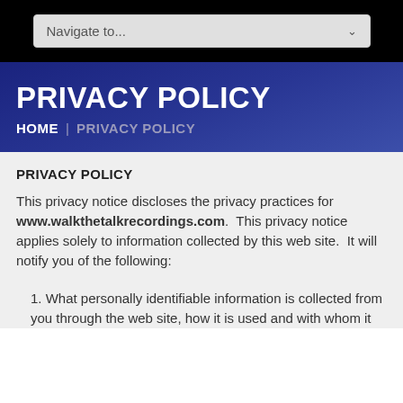Navigate to...
PRIVACY POLICY
HOME | PRIVACY POLICY
PRIVACY POLICY
This privacy notice discloses the privacy practices for www.walkthetalkrecordings.com. This privacy notice applies solely to information collected by this web site. It will notify you of the following:
1. What personally identifiable information is collected from you through the web site, how it is used and with whom it